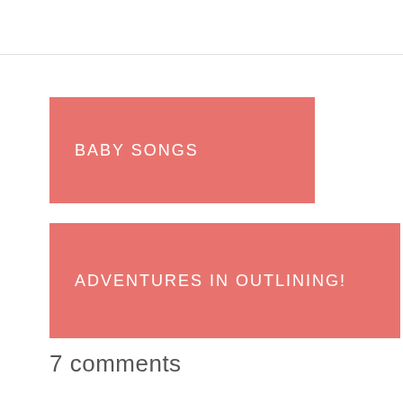BABY SONGS
ADVENTURES IN OUTLINING!
7 comments